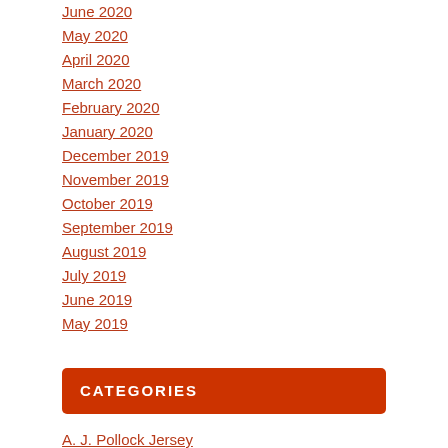June 2020
May 2020
April 2020
March 2020
February 2020
January 2020
December 2019
November 2019
October 2019
September 2019
August 2019
July 2019
June 2019
May 2019
CATEGORIES
A. J. Pollock Jersey
A.Q. Shipley Jersey
Adam Jones Jersey
Adam Louw Jersey